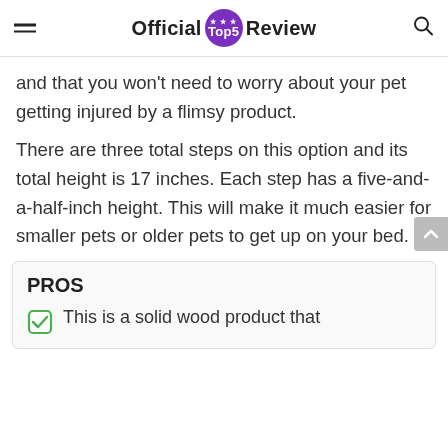Official Top5 Review
and that you won't need to worry about your pet getting injured by a flimsy product.
There are three total steps on this option and its total height is 17 inches. Each step has a five-and-a-half-inch height. This will make it much easier for smaller pets or older pets to get up on your bed.
PROS
This is a solid wood product that